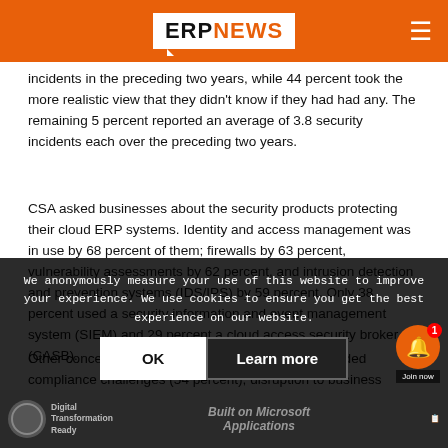ERP NEWS
incidents in the preceding two years, while 44 percent took the more realistic view that they didn’t know if they had had any. The remaining 5 percent reported an average of 3.8 security incidents each over the preceding two years.
CSA asked businesses about the security products protecting their cloud ERP systems. Identity and access management was in use by 68 percent of them; firewalls by 63 percent, vulnerability assessments by 62 percent, and intrusion detection and prevention systems (IDS/IPS) by 59 percent. Only 38 percent used a security information and event management system (SIEM) and 29 percent a cloud access security broker (CASB).
Other concerns about moving ERP to the cloud included compliance challenges (54 percent), disruption to business operations caused by the migration process (47 percent), and the time taken to migrate data (46 percent).
We anonymously measure your use of this website to improve your experience. We use cookies to ensure you get the best experience on our website.
Digital Transformation Ready   Built on Microsoft Applications   Join now